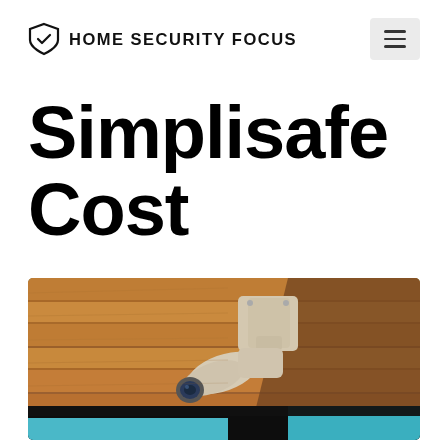HOME SECURITY FOCUS
Simplisafe Cost
[Figure (photo): A white bullet security camera mounted on a wooden ceiling corner, with aqua/blue sky visible in the lower portion of the image.]